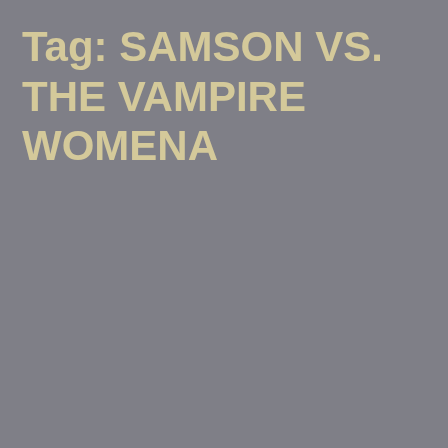Tag: SAMSON VS. THE VAMPIRE WOMENA